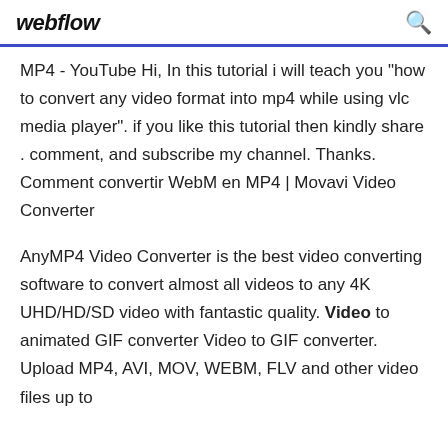webflow
MP4 - YouTube Hi, In this tutorial i will teach you "how to convert any video format into mp4 while using vlc media player". if you like this tutorial then kindly share . comment, and subscribe my channel. Thanks. Comment convertir WebM en MP4 | Movavi Video Converter
AnyMP4 Video Converter is the best video converting software to convert almost all videos to any 4K UHD/HD/SD video with fantastic quality. Video to animated GIF converter Video to GIF converter. Upload MP4, AVI, MOV, WEBM, FLV and other video files up to